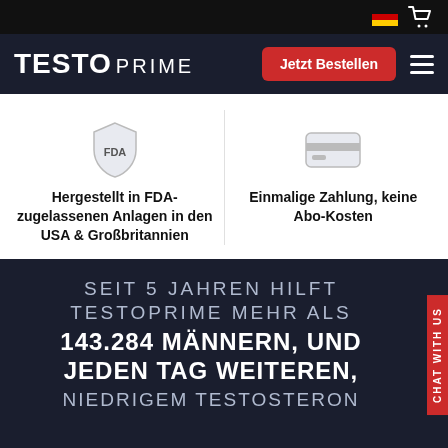TESTO PRIME — Jetzt Bestellen
Hergestellt in FDA-zugelassenen Anlagen in den USA & Großbritannien
Einmalige Zahlung, keine Abo-Kosten
SEIT 5 JAHREN HILFT TESTOPRIME MEHR ALS 143.284 MÄNNERN, UND JEDEN TAG WEITEREN, NIEDRIGEM TESTOSTERON